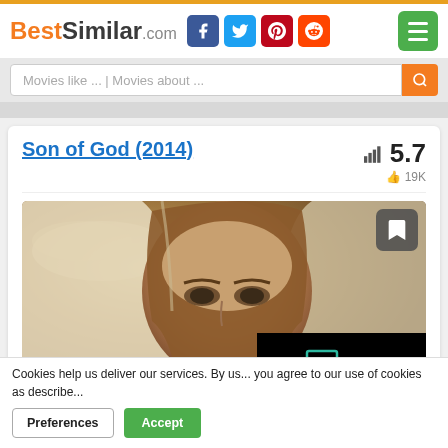BestSimilar.com
Movies like ... | Movies about ...
Son of God (2014)
5.7
19K
[Figure (photo): Movie poster for Son of God (2014) showing a close-up of a person with long brown hair and a white hood, with dramatic sky background. A dark overlay panel is visible in the bottom right corner with a teal icon.]
Cookies help us deliver our services. By us... you agree to our use of cookies as describe...
Preferences
Accept